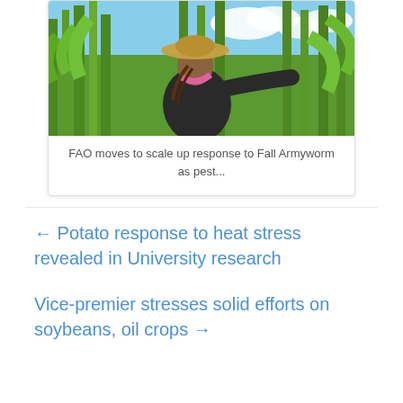[Figure (photo): A woman wearing a straw hat and dark jacket in a corn/maize field, examining the crops, with blue sky in background]
FAO moves to scale up response to Fall Armyworm as pest...
← Potato response to heat stress revealed in University research
Vice-premier stresses solid efforts on soybeans, oil crops →